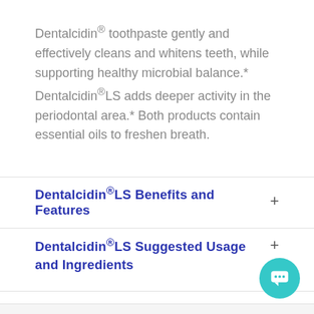Dentalcidin® toothpaste gently and effectively cleans and whitens teeth, while supporting healthy microbial balance.* Dentalcidin®LS adds deeper activity in the periodontal area.* Both products contain essential oils to freshen breath.
Dentalcidin®LS Benefits and Features
Dentalcidin®LS Suggested Usage and Ingredients